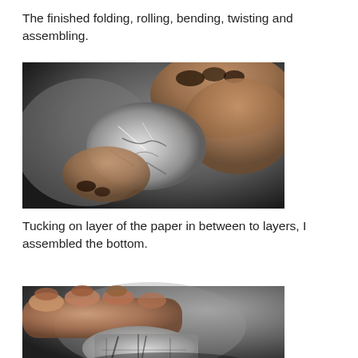The finished folding, rolling, bending, twisting and assembling.
[Figure (photo): Hand holding a crumpled and folded piece of metallic/foil paper shaped into a small form, photographed against a dark grey background.]
Tucking on layer of the paper in between to layers, I assembled the bottom.
[Figure (photo): Hand holding an assembled foil/paper bottom piece, showing the underside, photographed against a dark grey background. Image is cropped at the bottom.]